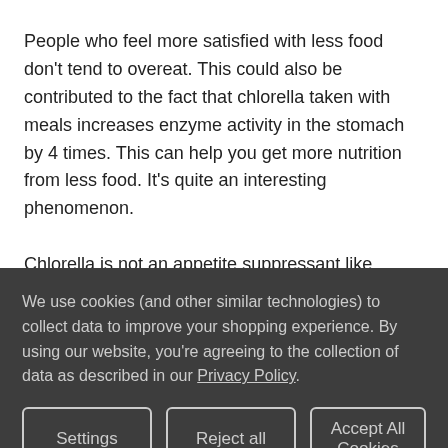People who feel more satisfied with less food don't tend to overeat. This could also be contributed to the fact that chlorella taken with meals increases enzyme activity in the stomach by 4 times. This can help you get more nutrition from less food. It's quite an interesting phenomenon.
Chlorella is not an appetite suppressant like Hoodia or many of the medical weight loss supplements available.
We use cookies (and other similar technologies) to collect data to improve your shopping experience. By using our website, you're agreeing to the collection of data as described in our Privacy Policy.